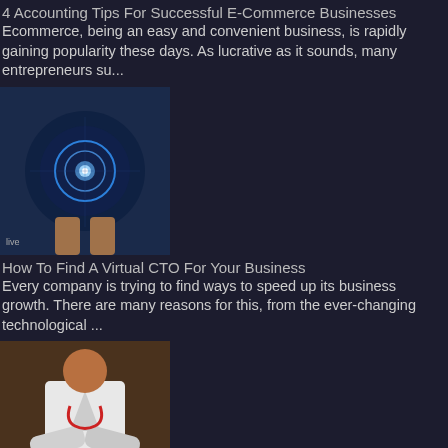4 Accounting Tips For Successful E-Commerce Businesses
Ecommerce, being an easy and convenient business, is rapidly gaining popularity these days. As lucrative as it sounds, many entrepreneurs su...
[Figure (photo): Blue glowing technology sphere held in hands, digital concept image]
How To Find A Virtual CTO For Your Business
Every company is trying to find ways to speed up its business growth. There are many reasons for this, from the ever-changing technological ...
[Figure (photo): Person in white lab coat with arms crossed, healthcare professional]
How Can Tech Help Healthcare Centers Administratively?
Technology affects all aspects of our lives, from entertainment to transportation. It also plays an integral role in the healthcare industry...
[Figure (logo): Jira logo on dark blue/purple background with geometric shapes]
How To Use Team Efficiency With The Jira Space...